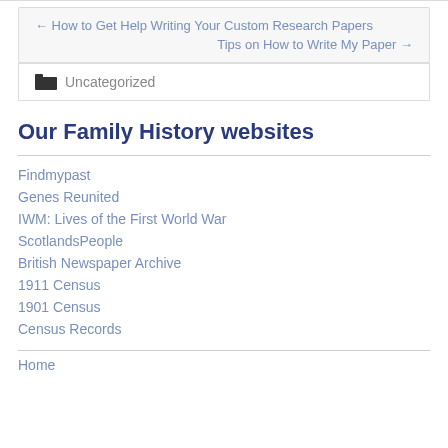← How to Get Help Writing Your Custom Research Papers
Tips on How to Write My Paper →
Uncategorized
Our Family History websites
Findmypast
Genes Reunited
IWM: Lives of the First World War
ScotlandsPeople
British Newspaper Archive
1911 Census
1901 Census
Census Records
Home